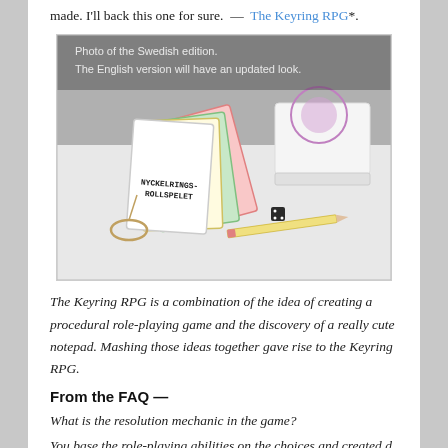made. I'll back this one for sure.  —  The Keyring RPG*.
[Figure (photo): Photo of the Swedish edition of the Keyring RPG showing a set of cards fanned out, a white box, a small die, and a pencil on a white surface. Text overlay reads: Photo of the Swedish edition. The English version will have an updated look.]
The Keyring RPG is a combination of the idea of creating a procedural role-playing game and the discovery of a really cute notepad. Mashing those ideas together gave rise to the Keyring RPG.
From the FAQ —
What is the resolution mechanic in the game?
You base the role-playing abilities on the choices and created d...